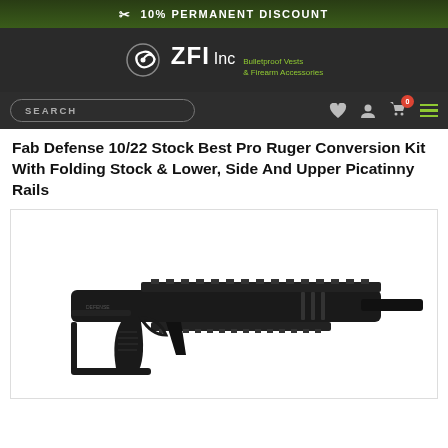✂ 10% PERMANENT DISCOUNT
[Figure (logo): ZFI Inc logo - Bulletproof Vests & Firearm Accessories with stylized spiral icon]
SEARCH | navigation icons including heart, user, cart (0), and menu
Fab Defense 10/22 Stock Best Pro Ruger Conversion Kit With Folding Stock & Lower, Side And Upper Picatinny Rails
[Figure (photo): Black Fab Defense 10/22 Stock conversion kit showing folding stock with Picatinny rails, pistol grip, and skeletal chassis design]